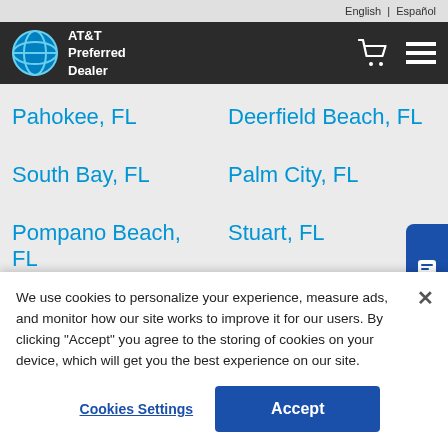English | Español
AT&T Preferred Dealer
Pahokee, FL
Deerfield Beach, FL
South Bay, FL
Palm City, FL
Pompano Beach, FL
Stuart, FL
We use cookies to personalize your experience, measure ads, and monitor how our site works to improve it for our users. By clicking "Accept" you agree to the storing of cookies on your device, which will get you the best experience on our site.
Cookies Settings
Accept